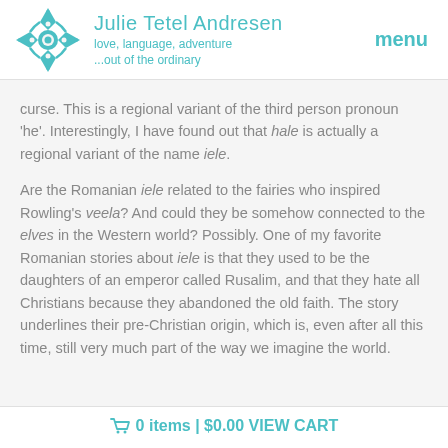Julie Tetel Andresen — love, language, adventure ...out of the ordinary — menu
curse. This is a regional variant of the third person pronoun 'he'. Interestingly, I have found out that hale is actually a regional variant of the name iele.
Are the Romanian iele related to the fairies who inspired Rowling's veela? And could they be somehow connected to the elves in the Western world? Possibly. One of my favorite Romanian stories about iele is that they used to be the daughters of an emperor called Rusalim, and that they hate all Christians because they abandoned the old faith. The story underlines their pre-Christian origin, which is, even after all this time, still very much part of the way we imagine the world.
0 items | $0.00 VIEW CART